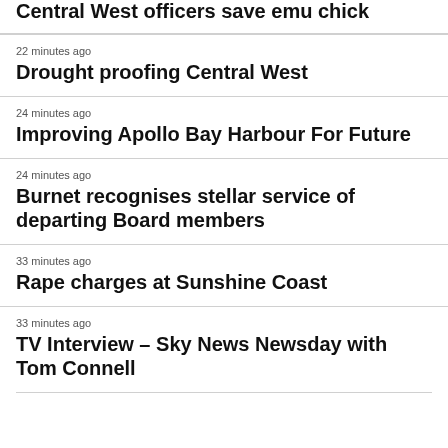Central West officers save emu chick
22 minutes ago
Drought proofing Central West
24 minutes ago
Improving Apollo Bay Harbour For Future
24 minutes ago
Burnet recognises stellar service of departing Board members
33 minutes ago
Rape charges at Sunshine Coast
33 minutes ago
TV Interview – Sky News Newsday with Tom Connell